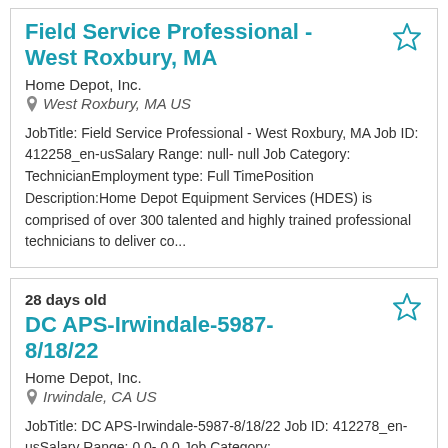Field Service Professional - West Roxbury, MA
Home Depot, Inc.
West Roxbury, MA US
JobTitle: Field Service Professional - West Roxbury, MA Job ID: 412258_en-usSalary Range: null- null Job Category: TechnicianEmployment type: Full TimePosition Description:Home Depot Equipment Services (HDES) is comprised of over 300 talented and highly trained professional technicians to deliver co...
28 days old
DC APS-Irwindale-5987-8/18/22
Home Depot, Inc.
Irwindale, CA US
JobTitle: DC APS-Irwindale-5987-8/18/22 Job ID: 412278_en-usSalary Range: 0.0- 0.0 Job Category: Distribution/Transportation FacilitiesEmployment type: Full TimePosition Description:Position Purpose:The